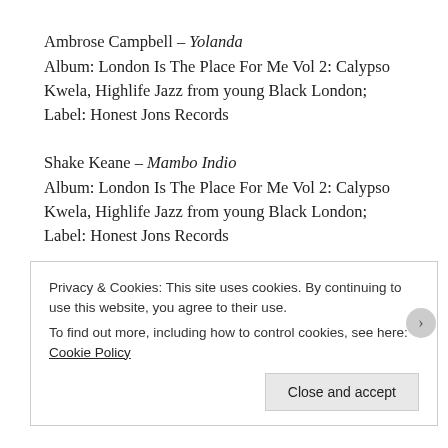Ambrose Campbell – Yolanda
Album: London Is The Place For Me Vol 2: Calypso Kwela, Highlife Jazz from young Black London; Label: Honest Jons Records
Shake Keane – Mambo Indio
Album: London Is The Place For Me Vol 2: Calypso Kwela, Highlife Jazz from young Black London; Label: Honest Jons Records
Young Tiger – African Dream
Album: London Is The Place For Me Vol 2: Calypso Kwela,
Privacy & Cookies: This site uses cookies. By continuing to use this website, you agree to their use.
To find out more, including how to control cookies, see here: Cookie Policy
Close and accept